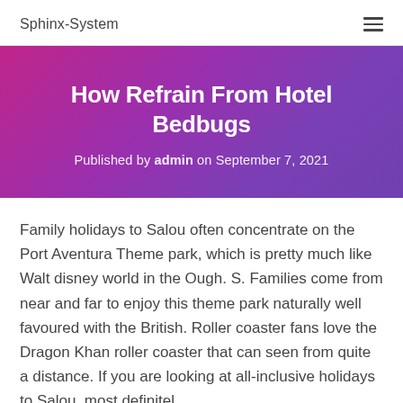Sphinx-System
How Refrain From Hotel Bedbugs
Published by admin on September 7, 2021
Family holidays to Salou often concentrate on the Port Aventura Theme park, which is pretty much like Walt disney world in the Ough. S. Families come from near and far to enjoy this theme park naturally well favoured with the British. Roller coaster fans love the Dragon Khan roller coaster that can seen from quite a distance. If you are looking at all-inclusive holidays to Salou, most definitel